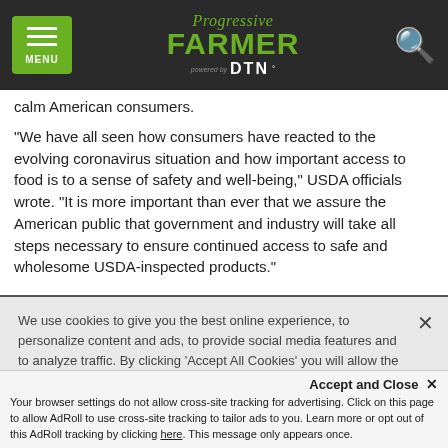Progressive FARMER powered by DTN — navigation header
calm American consumers.
"We have all seen how consumers have reacted to the evolving coronavirus situation and how important access to food is to a sense of safety and well-being," USDA officials wrote. "It is more important than ever that we assure the American public that government and industry will take all steps necessary to ensure continued access to safe and wholesome USDA-inspected products."
We use cookies to give you the best online experience, to personalize content and ads, to provide social media features and to analyze traffic. By clicking 'Accept All Cookies' you will allow the use of these cookies. Your settings can be changed, including withdrawing your consent at any time, by clicking 'Cookie Settings'. Find out more on how we and third parties use cookies in our  Cookie Policy
Accept and Close ×
Your browser settings do not allow cross-site tracking for advertising. Click on this page to allow AdRoll to use cross-site tracking to tailor ads to you. Learn more or opt out of this AdRoll tracking by clicking here. This message only appears once.